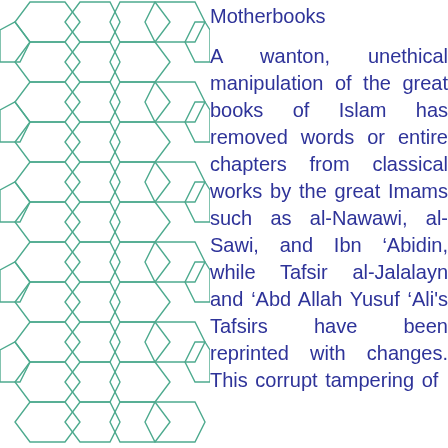[Figure (illustration): Islamic geometric pattern made of interlocking pentagons and hexagons drawn in teal/green lines on white background, spanning the full left column of the page]
Motherbooks
A wanton, unethical manipulation of the great books of Islam has removed words or entire chapters from classical works by the great Imams such as al-Nawawi, al-Sawi, and Ibn 'Abidin, while Tafsir al-Jalalayn and 'Abd Allah Yusuf 'Ali's Tafsirs have been reprinted with changes. This corrupt tampering of